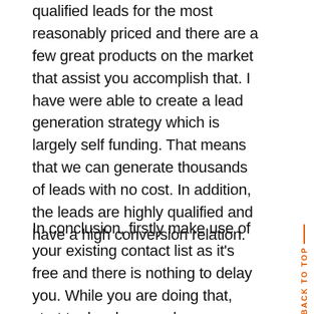The purpose of any marketer is to get highly qualified leads for the most reasonably priced and there are a few great products on the market that assist you accomplish that. I have were able to create a lead generation strategy which is largely self funding. That means that we can generate thousands of leads with no cost. In addition, the leads are highly qualified and have a high conversion relation.
In conclusion, firstly make use of your existing contact list as it's free and there is nothing to delay you. While you are doing that, start to develop your long run suitable lead generation strategy using Over unity magnetic Sponsoring. A combination of both will ensure you have leads to